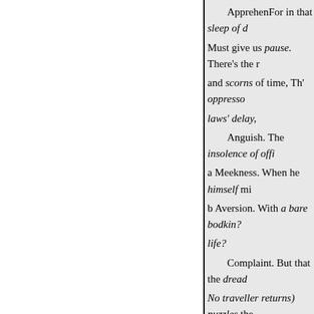ApprehenFor in that sleep of d... Must give us pause. There's the r... and scorns of time, Th' oppresso... laws' delay,
Anguish. The insolence of offi...
a Meekness. When he himself mi...
b Aversion. With a bare bodkin?... life?
Complaint. But that the dread... No traveller returns) puzzles the...
Resignation Than fly to others... And thus the native hue of resold... pith and moment, With this rega...
pauses must be
1 " But to die—to sleep-no m... asleep, and nothing else ?»*
8 " Fardels." That is, burd...
8 "Whose bourne." That is...